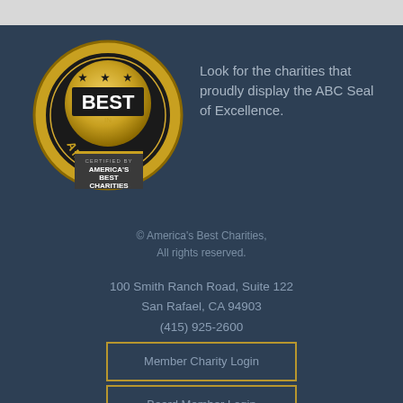[Figure (logo): America's Best Charities 'Best in America' certification seal badge — circular gold and black medal with stars and banner ribbons showing 'CERTIFIED BY AMERICA'S BEST CHARITIES']
Look for the charities that proudly display the ABC Seal of Excellence.
© America's Best Charities, All rights reserved.
100 Smith Ranch Road, Suite 122
San Rafael, CA 94903
(415) 925-2600
Member Charity Login
Board Member Login